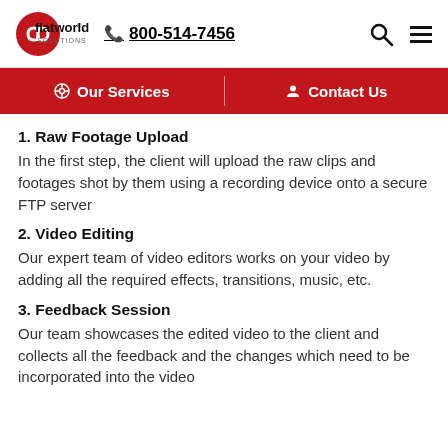flatworld solutions | 800-514-7456
Our Services | Contact Us
1. Raw Footage Upload
In the first step, the client will upload the raw clips and footages shot by them using a recording device onto a secure FTP server
2. Video Editing
Our expert team of video editors works on your video by adding all the required effects, transitions, music, etc.
3. Feedback Session
Our team showcases the edited video to the client and collects all the feedback and the changes which need to be incorporated into the video